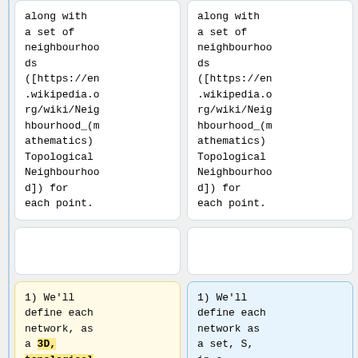along with a set of neighbourhoods ([https://en.wikipedia.org/wiki/Neighbourhood_(mathematics) Topological Neighbourhood]) for each point.
along with a set of neighbourhoods ([https://en.wikipedia.org/wiki/Neighbourhood_(mathematics) Topological Neighbourhood]) for each point.
1) We'll define each network, as a 3D, topological set, S, in
1) We'll define each network as a set, S, in a shared, 3-